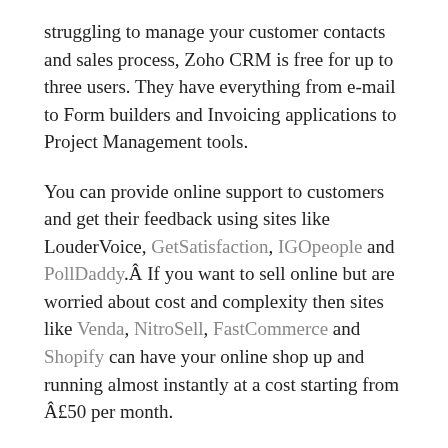struggling to manage your customer contacts and sales process, Zoho CRM is free for up to three users. They have everything from e-mail to Form builders and Invoicing applications to Project Management tools.
You can provide online support to customers and get their feedback using sites like LouderVoice, GetSatisfaction, IGOpeople and PollDaddy.Â If you want to sell online but are worried about cost and complexity then sites like Venda, NitroSell, FastCommerce and Shopify can have your online shop up and running almost instantly at a cost starting from Â£50 per month.
Cloud-based sites also mean you can stop relying on portable harddisks and USB drives to back-up